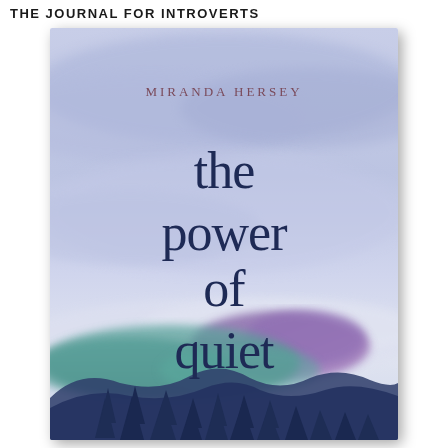THE JOURNAL FOR INTROVERTS
[Figure (illustration): Book cover of 'the power of quiet' by Miranda Hersey. Watercolor background of misty mountains with purple, teal, and dark blue hues. Silhouetted pine trees at the bottom. Title text in dark navy serif-style font centered on cover.]